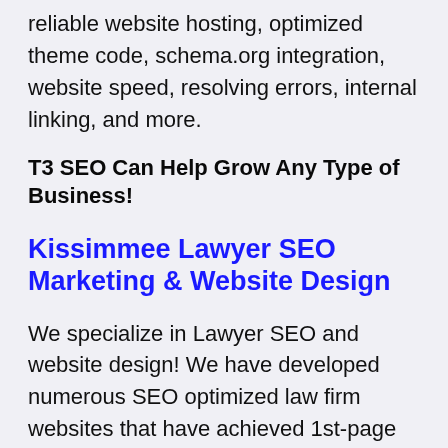reliable website hosting, optimized theme code, schema.org integration, website speed, resolving errors, internal linking, and more.
T3 SEO Can Help Grow Any Type of Business!
Kissimmee Lawyer SEO Marketing & Website Design
We specialize in Lawyer SEO and website design! We have developed numerous SEO optimized law firm websites that have achieved 1st-page rankings in Google for diverse competitive search terms.